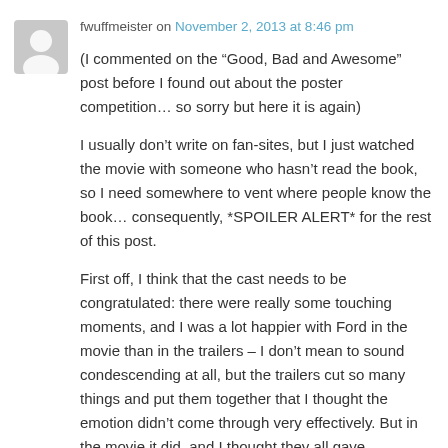fwuffmeister on November 2, 2013 at 8:46 pm
(I commented on the “Good, Bad and Awesome” post before I found out about the poster competition… so sorry but here it is again)
I usually don’t write on fan-sites, but I just watched the movie with someone who hasn’t read the book, so I need somewhere to vent where people know the book… consequently, *SPOILER ALERT* for the rest of this post.
First off, I think that the cast needs to be congratulated: there were really some touching moments, and I was a lot happier with Ford in the movie than in the trailers – I don’t mean to sound condescending at all, but the trailers cut so many things and put them together that I thought the emotion didn’t come through very effectively. But in the movie it did, and I thought they all gave wonderful performances. I agree about the accent slipping for Butterfield (actually I think I’ve heard his normal British accent too much to really hear what he says as being in an American accent, but that’s probably just me), but I didn’t really care about the accent because he’s just SO